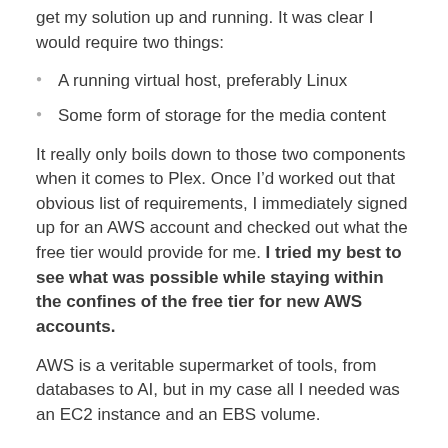get my solution up and running. It was clear I would require two things:
A running virtual host, preferably Linux
Some form of storage for the media content
It really only boils down to those two components when it comes to Plex. Once I’d worked out that obvious list of requirements, I immediately signed up for an AWS account and checked out what the free tier would provide for me. I tried my best to see what was possible while staying within the confines of the free tier for new AWS accounts.
AWS is a veritable supermarket of tools, from databases to AI, but in my case all I needed was an EC2 instance and an EBS volume.
EC2 - The Server